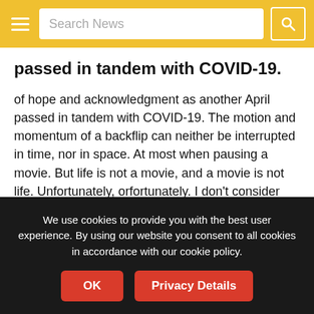Search News
passed in tandem with COVID-19.
of hope and acknowledgment as another April passed in tandem with COVID-19. The motion and momentum of a backflip can neither be interrupted in time, nor in space. At most when pausing a movie. But life is not a movie, and a movie is not life. Unfortunately, orfortunately. I don't consider the pandemic as part of our lives, nor do I consider it to be a disruption. It is bad and cruel. I believe it is a horror movie, neglecting any dramaturgy, which we have to turn off in order to
We use cookies to provide you with the best user experience. By using our website you consent to all cookies in accordance with our cookie policy.